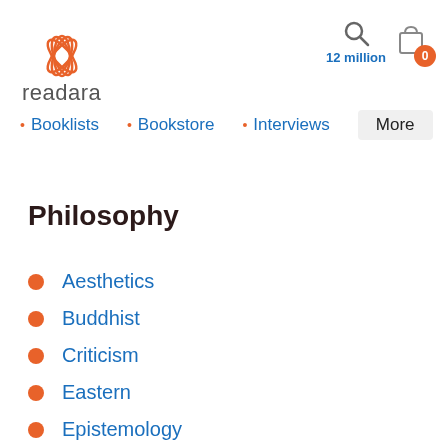[Figure (logo): Readara logo with lotus flower icon in orange and site name 'readara' in gray]
12 million
Booklists
Bookstore
Interviews
Philosophy
Aesthetics
Buddhist
Criticism
Eastern
Epistemology
Essays